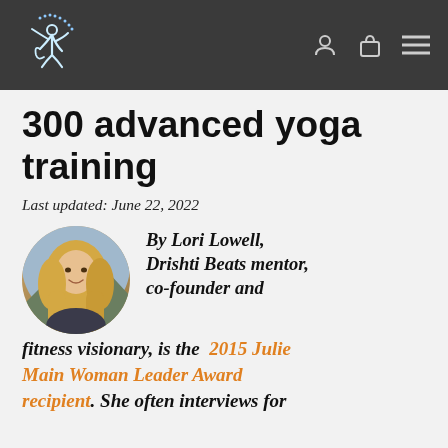Drishti Beats [logo]
300 advanced yoga training
Last updated: June 22, 2022
[Figure (photo): Circular portrait photo of Lori Lowell, a woman with long blonde hair outdoors]
By Lori Lowell, Drishti Beats mentor, co-founder and fitness visionary, is the 2015 Julie Main Woman Leader Award recipient. She often interviews for